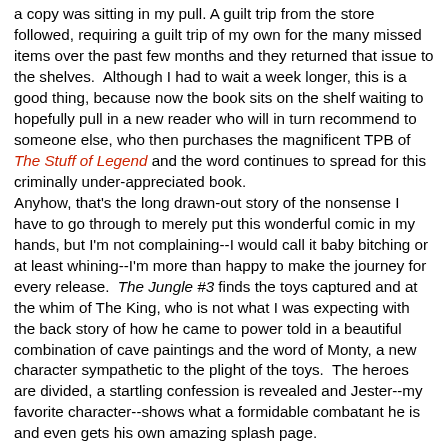a copy was sitting in my pull. A guilt trip from the store followed, requiring a guilt trip of my own for the many missed items over the past few months and they returned that issue to the shelves.  Although I had to wait a week longer, this is a good thing, because now the book sits on the shelf waiting to hopefully pull in a new reader who will in turn recommend to someone else, who then purchases the magnificent TPB of The Stuff of Legend and the word continues to spread for this criminally under-appreciated book.
Anyhow, that's the long drawn-out story of the nonsense I have to go through to merely put this wonderful comic in my hands, but I'm not complaining--I would call it baby bitching or at least whining--I'm more than happy to make the journey for every release.  The Jungle #3 finds the toys captured and at the whim of The King, who is not what I was expecting with the back story of how he came to power told in a beautiful combination of cave paintings and the word of Monty, a new character sympathetic to the plight of the toys.  The heroes are divided, a startling confession is revealed and Jester--my favorite character--shows what a formidable combatant he is and even gets his own amazing splash page.
I do have a foreboding for the fates of these characters who I